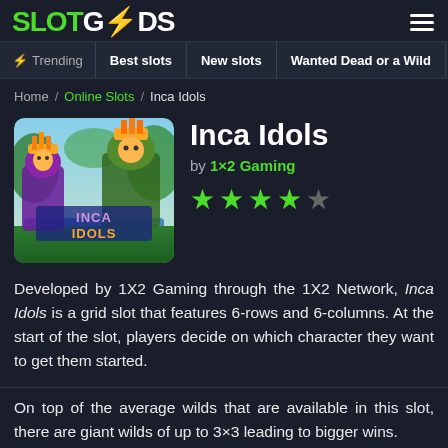SLOTGODS
Trending | Best slots | New slots | Wanted Dead or a Wild | M
Home / Online Slots / Inca Idols
[Figure (screenshot): Inca Idols slot game cover art showing Inca-themed characters and colorful jungle setting with the game title text]
Inca Idols
by 1×2 Gaming
[Figure (other): 4 out of 5 star rating shown in green stars]
Developed by 1X2 Gaming through the 1X2 Network, Inca Idols is a grid slot that features 6-rows and 6-columns. At the start of the slot, players decide on which character they want to get them started.
On top of the average wilds that are available in this slot, there are giant wilds of up to 3×3 leading to bigger wins.